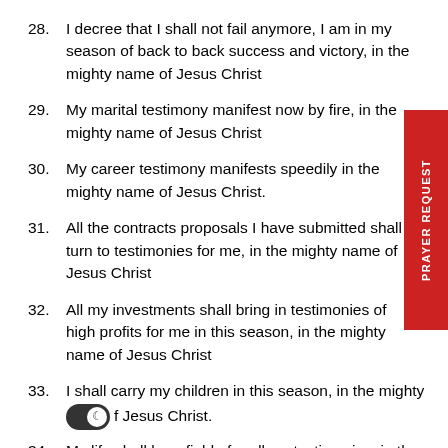28. I decree that I shall not fail anymore, I am in my season of back to back success and victory, in the mighty name of Jesus Christ
29. My marital testimony manifest now by fire, in the mighty name of Jesus Christ
30. My career testimony manifests speedily in the mighty name of Jesus Christ.
31. All the contracts proposals I have submitted shall turn to testimonies for me, in the mighty name of Jesus Christ
32. All my investments shall bring in testimonies of high profits for me in this season, in the mighty name of Jesus Christ
33. I shall carry my children in this season, in the mighty name of Jesus Christ.
34. My life shall be a field of endless testimonies, in the